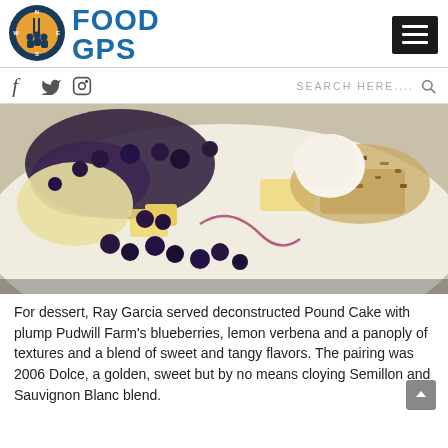[Figure (logo): Food GPS logo with compass and fork icon and blue FOOD GPS text]
FOOD GPS
[Figure (photo): Deconstructed pound cake dessert with blueberries on a white plate]
For dessert, Ray Garcia served deconstructed Pound Cake with plump Pudwill Farm's blueberries, lemon verbena and a panoply of textures and a blend of sweet and tangy flavors. The pairing was 2006 Dolce, a golden, sweet but by no means cloying Semillon and Sauvignon Blanc blend.